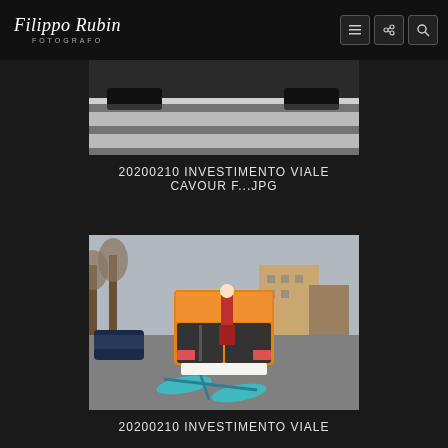Filippo Rubin FOTOGRAFO
[Figure (photo): Aerial view of a car on a zebra/pedestrian crossing, showing black and white stripes of crosswalk with car tires visible]
20200210 INVESTIMENTO VIALE CAVOUR F...JPG
[Figure (photo): Street scene showing an orange and white utility van stopped in an intersection with a fallen bicycle (light blue/teal color) lying on the road in front of it, buildings visible in background]
20200210 INVESTIMENTO VIALE